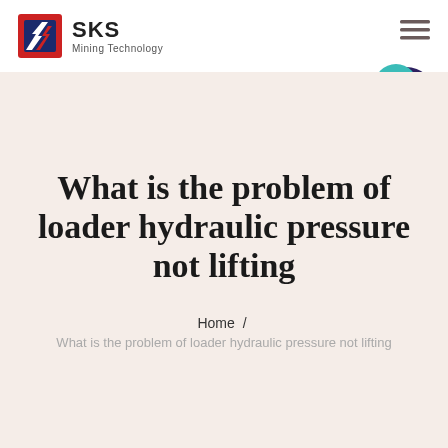[Figure (logo): SKS Mining Technology logo with red and blue shield/arrow icon and company name]
[Figure (infographic): Hamburger menu icon (three horizontal lines) in dark color, top right of header]
[Figure (infographic): Live Chat bubble icon in teal/dark blue with text LIVE CHAT]
What is the problem of loader hydraulic pressure not lifting
Home / What is the problem of loader hydraulic pressure not lifting